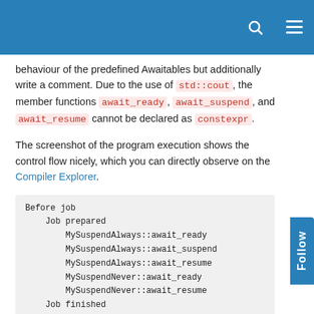behaviour of the predefined Awaitables but additionally write a comment. Due to the use of std::cout, the member functions await_ready, await_suspend, and await_resume cannot be declared as constexpr.
The screenshot of the program execution shows the control flow nicely, which you can directly observe on the Compiler Explorer.
[Figure (screenshot): Code output block showing: Before job, Job prepared, MySuspendAlways::await_ready, MySuspendAlways::await_suspend, MySuspendAlways::await_resume, MySuspendNever::await_ready, MySuspendNever::await_resume, Job finished, MySuspendAlways::await_ready, MySuspendAlways::await_suspend, After job]